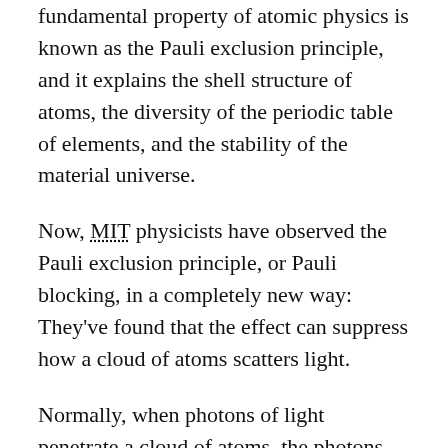fundamental property of atomic physics is known as the Pauli exclusion principle, and it explains the shell structure of atoms, the diversity of the periodic table of elements, and the stability of the material universe.
Now, MIT physicists have observed the Pauli exclusion principle, or Pauli blocking, in a completely new way: They've found that the effect can suppress how a cloud of atoms scatters light.
Normally, when photons of light penetrate a cloud of atoms, the photons and atoms can ping off each other like billiard balls, scattering light in every direction to radiate light, and thus make the cloud visible. However, the MIT team observed that when atoms are supercooled and ultrasqueezed, the Pauli effect kicks in and the particles